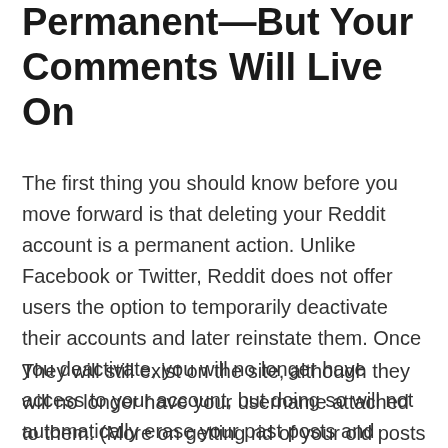Permanent—But Your Comments Will Live On
The first thing you should know before you move forward is that deleting your Reddit account is a permanent action. Unlike Facebook or Twitter, Reddit does not offer users the option to temporarily deactivate their accounts and later reinstate them. Once you deactivate, you will no longer have access to your account, but doing so will not automatically erase your past posts and comments.
They will still exist on the site, although they will no longer have your username attached to them. (More on getting rid of your old posts in a bit.) So make sure you're absolutely certain in your decision to delete